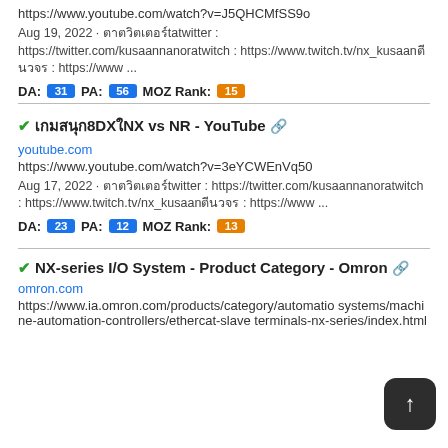https://www.youtube.com/watch?v=J5QHCMfSS9o
Aug 19, 2022 · ตาตวิตเตอร์tatwitter : https://twitter.com/kusaannanoratwitch : https://www.twitch.tv/nx_kusaanตีนวจร : https://www ...
DA: 31 PA: 56 MOZ Rank: 15
✔️เกมสนุกน8DXใNX vs NR - YouTube 🔗
youtube.com
https://www.youtube.com/watch?v=3eYCWEnVq50
Aug 17, 2022 · ตาตวิตเตอร์twitter : https://twitter.com/kusaannanoratwitch : https://www.twitch.tv/nx_kusaanตีนวจร : https://www ...
DA: 23 PA: 12 MOZ Rank: 13
✔️NX-series I/O System - Product Category - Omron 🔗
omron.com
https://www.ia.omron.com/products/category/automation-systems/machine-automation-controllers/ethercat-slave-terminals-nx-series/index.html